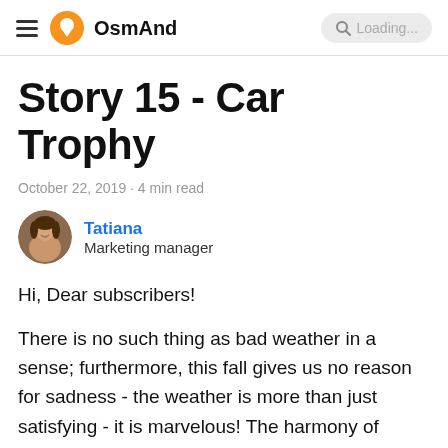OsmAnd  Loading...
Story 15 - Car Trophy
October 22, 2019 · 4 min read
Tatiana
Marketing manager
Hi, Dear subscribers!
There is no such thing as bad weather in a sense; furthermore, this fall gives us no reason for sadness - the weather is more than just satisfying - it is marvelous! The harmony of colorful leaves and